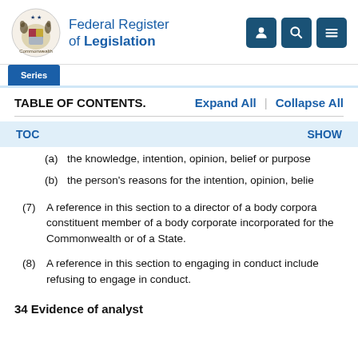Federal Register of Legislation
TABLE OF CONTENTS.   Expand All   |   Collapse All
TOC   SHOW
(a)  the knowledge, intention, opinion, belief or purpose
(b)  the person's reasons for the intention, opinion, belie
(7)  A reference in this section to a director of a body corpora constituent member of a body corporate incorporated for the Commonwealth or of a State.
(8)  A reference in this section to engaging in conduct include refusing to engage in conduct.
34  Evidence of analyst